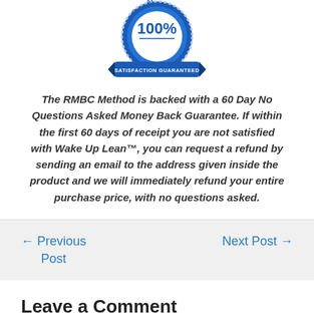[Figure (illustration): Blue circular satisfaction guarantee badge with '100%' in large text, '60 Day' around the top, and 'SATISFACTION GUARANTEED' on a blue ribbon banner at the bottom.]
The RMBC Method is backed with a 60 Day No Questions Asked Money Back Guarantee. If within the first 60 days of receipt you are not satisfied with Wake Up Lean™, you can request a refund by sending an email to the address given inside the product and we will immediately refund your entire purchase price, with no questions asked.
← Previous Post
Next Post →
Leave a Comment
You must be logged in to post a comment.